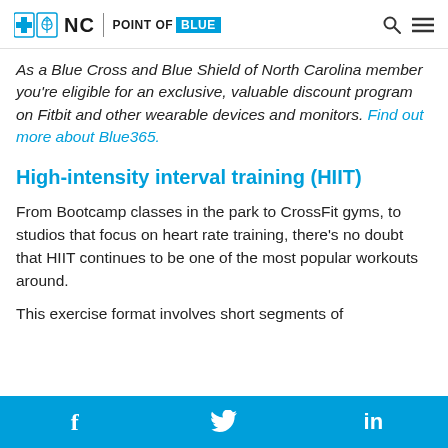NC | POINT OF BLUE
As a Blue Cross and Blue Shield of North Carolina member you’re eligible for an exclusive, valuable discount program on Fitbit and other wearable devices and monitors. Find out more about Blue365.
High-intensity interval training (HIIT)
From Bootcamp classes in the park to CrossFit gyms, to studios that focus on heart rate training, there’s no doubt that HIIT continues to be one of the most popular workouts around.
This exercise format involves short segments of
f  🐦  in